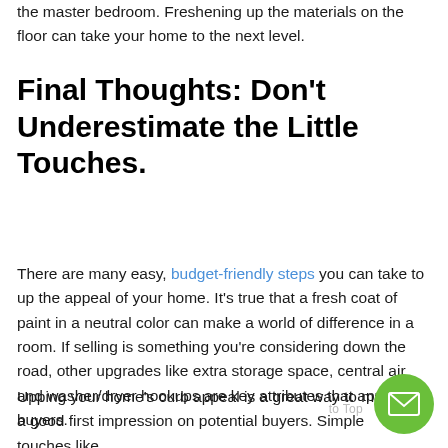the master bedroom. Freshening up the materials on the floor can take your home to the next level.
Final Thoughts: Don't Underestimate the Little Touches.
There are many easy, budget-friendly steps you can take to up the appeal of your home. It's true that a fresh coat of paint in a neutral color can make a world of difference in a room. If selling is something you're considering down the road, other upgrades like extra storage space, central air and washer/dryer hookups are key attributes that appeal to buyers.
Upping your home's curb appeal is a great way to make a good first impression on potential buyers. Simple touches like